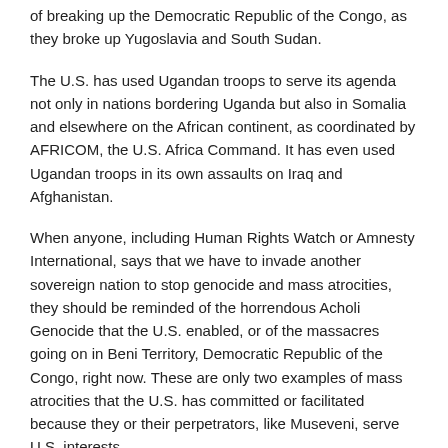of breaking up the Democratic Republic of the Congo, as they broke up Yugoslavia and South Sudan.
The U.S. has used Ugandan troops to serve its agenda not only in nations bordering Uganda but also in Somalia and elsewhere on the African continent, as coordinated by AFRICOM, the U.S. Africa Command. It has even used Ugandan troops in its own assaults on Iraq and Afghanistan.
When anyone, including Human Rights Watch or Amnesty International, says that we have to invade another sovereign nation to stop genocide and mass atrocities, they should be reminded of the horrendous Acholi Genocide that the U.S. enabled, or of the massacres going on in Beni Territory, Democratic Republic of the Congo, right now. These are only two examples of mass atrocities that the U.S. has committed or facilitated because they or their perpetrators, like Museveni, serve U.S. interests.
RT will air “A Brilliant Genocide” on October 1st.
[Ann Garrison is an independent journalist who also contributes to the San Francisco Bay View, Global Research, the Black Agenda Report